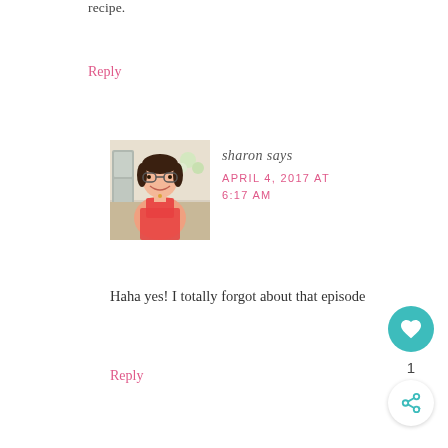recipe.
Reply
[Figure (photo): Profile photo of sharon: a woman wearing glasses and a red apron, smiling, in a kitchen setting]
sharon says
APRIL 4, 2017 AT 6:17 AM
Haha yes! I totally forgot about that episode
Reply